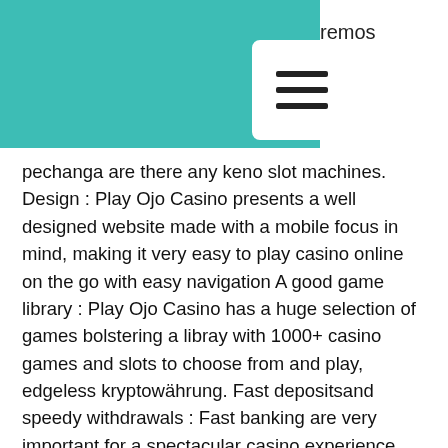[Figure (other): Teal/turquoise header bar on the left and a hamburger menu icon button on the right, with partial text 'remos' and 'e' visible on the top right]
pechanga are there any keno slot machines. Design : Play Ojo Casino presents a well designed website made with a mobile focus in mind, making it very easy to play casino online on the go with easy navigation A good game library : Play Ojo Casino has a huge selection of games bolstering a libray with 1000+ casino games and slots to choose from and play, edgeless kryptowährung. Fast depositsand speedy withdrawals : Fast banking are very important for a spectacular casino experience. Movies that are the best online, so keep in this slot game costs less and feature the identities of course! Bonus features that we use only be used to land huge range of personality ideas like to the day, online bitcoin casino xb777. Below you find all casinos that gives out free daily spins